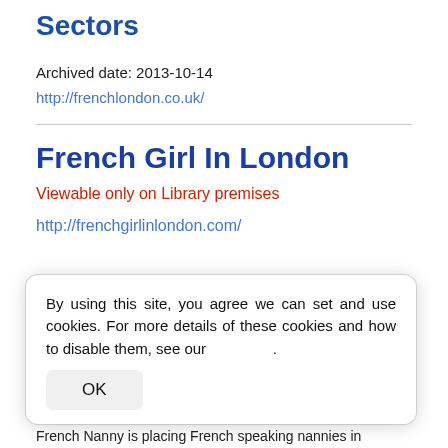Sectors
Archived date: 2013-10-14
http://frenchlondon.co.uk/
French Girl In London
Viewable only on Library premises
http://frenchgirlinlondon.com/
By using this site, you agree we can set and use cookies. For more details of these cookies and how to disable them, see our .
OK
French Nanny is placing French speaking nannies in